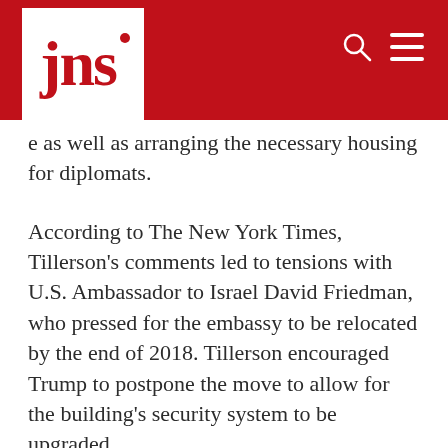jns
e as well as arranging the necessary housing for diplomats.
According to The New York Times, Tillerson’s comments led to tensions with U.S. Ambassador to Israel David Friedman, who pressed for the embassy to be relocated by the end of 2018. Tillerson encouraged Trump to postpone the move to allow for the building’s security system to be upgraded.
Planning and construction of a new embassy compound would take up to six years and cost